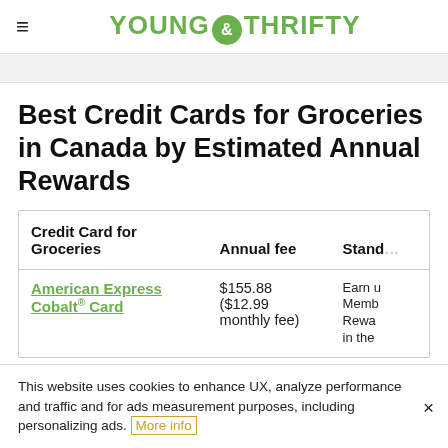YOUNG & THRIFTY
Best Credit Cards for Groceries in Canada by Estimated Annual Rewards
| Credit Card for Groceries | Annual fee | Stand… |
| --- | --- | --- |
| American Express Cobalt® Card | $155.88 ($12.99 monthly fee) | Earn u Memb Rewa in the |
This website uses cookies to enhance UX, analyze performance and traffic and for ads measurement purposes, including personalizing ads. More info ×